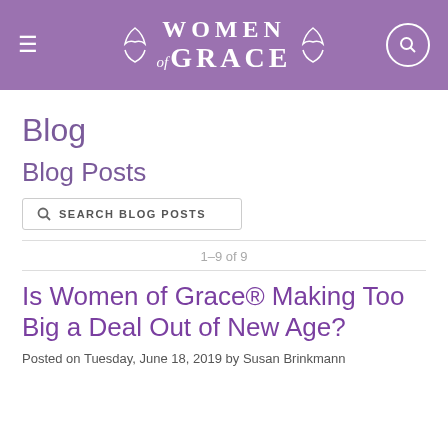Women of Grace — Blog
Blog
Blog Posts
SEARCH BLOG POSTS
1–9 of 9
Is Women of Grace® Making Too Big a Deal Out of New Age?
Posted on Tuesday, June 18, 2019 by Susan Brinkmann